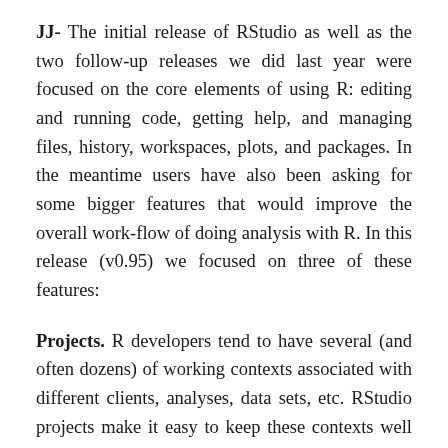JJ- The initial release of RStudio as well as the two follow-up releases we did last year were focused on the core elements of using R: editing and running code, getting help, and managing files, history, workspaces, plots, and packages. In the meantime users have also been asking for some bigger features that would improve the overall work-flow of doing analysis with R. In this release (v0.95) we focused on three of these features:
Projects. R developers tend to have several (and often dozens) of working contexts associated with different clients, analyses, data sets, etc. RStudio projects make it easy to keep these contexts well separated (with distinct R